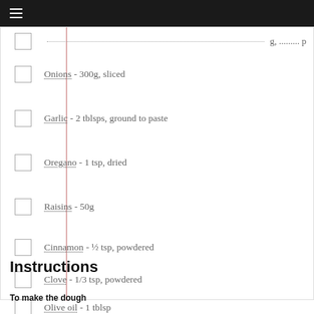☰
Onions - 300g, sliced
Garlic - 2 tblsps, ground to paste
Oregano - 1 tsp, dried
Raisins - 50g
Cinnamon - ½ tsp, powdered
Clove - 1/3 tsp, powdered
Olive oil - 1 tblsp
Instructions
To make the dough